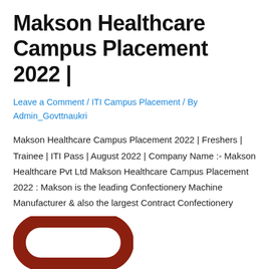Makson Healthcare Campus Placement 2022 |
Leave a Comment / ITI Campus Placement / By Admin_Govttnaukri
Makson Healthcare Campus Placement 2022 | Freshers | Trainee | ITI Pass | August 2022 | Company Name :- Makson Healthcare Pvt Ltd Makson Healthcare Campus Placement 2022 : Makson is the leading Confectionery Machine Manufacturer & also the largest Contract Confectionery Manufacturer in India, having its branches at Bhopal & Hyderabad. Makson Healthcare Campus Placement …
Read More »
[Figure (logo): Partial view of a logo with a rounded rectangle shape in dark red/brown color, partially visible at the bottom of the page]